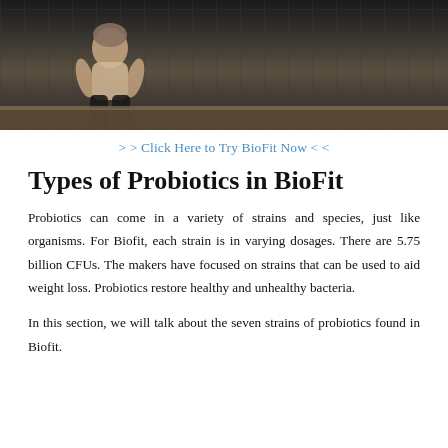[Figure (photo): A person sitting on a kitchen counter in a dark kitchen, holding something in their hands, wearing black pants and a light-colored top.]
> > Click Here to Try BioFit Now < <
Types of Probiotics in BioFit
Probiotics can come in a variety of strains and species, just like organisms. For Biofit, each strain is in varying dosages. There are 5.75 billion CFUs. The makers have focused on strains that can be used to aid weight loss. Probiotics restore healthy and unhealthy bacteria.
In this section, we will talk about the seven strains of probiotics found in Biofit.